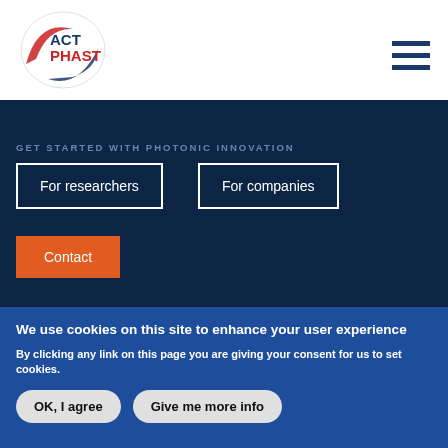ACT PHAST logo and navigation
GET STARTED WITH PHOTONIC INNOVATION
For researchers
For companies
Contact
We use cookies on this site to enhance your user experience
By clicking any link on this page you are giving your consent for us to set cookies.
OK, I agree
Give me more info